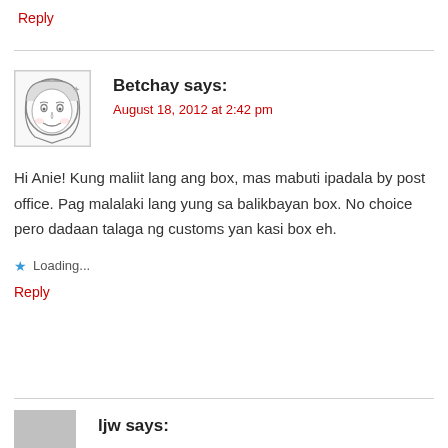Reply
Betchay says:
August 18, 2012 at 2:42 pm
Hi Anie! Kung maliit lang ang box, mas mabuti ipadala by post office. Pag malalaki lang yung sa balikbayan box. No choice pero dadaan talaga ng customs yan kasi box eh.
Loading...
Reply
ljw says: